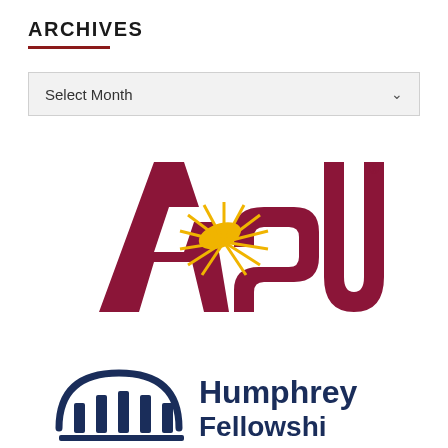ARCHIVES
Select Month
[Figure (logo): ASU (Arizona State University) logo in maroon and gold with Sparky sun devil spark burst]
[Figure (logo): Humphrey Fellowship program logo showing dome/pillars icon with text 'Humphrey Fellowship' in navy blue]